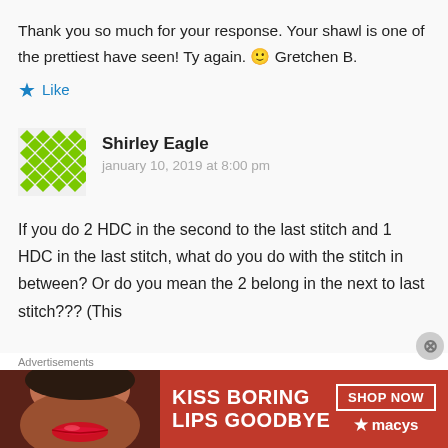Thank you so much for your response. Your shawl is one of the prettiest have seen! Ty again. 🙂 Gretchen B.
Like
Shirley Eagle
january 10, 2019 at 8:00 pm
If you do 2 HDC in the second to the last stitch and 1 HDC in the last stitch, what do you do with the stitch in between? Or do you mean the 2 belong in the next to last stitch??? (This
Advertisements
[Figure (photo): Macy's advertisement banner: 'KISS BORING LIPS GOODBYE' with SHOP NOW button and Macy's logo, featuring a woman's face with red lipstick]